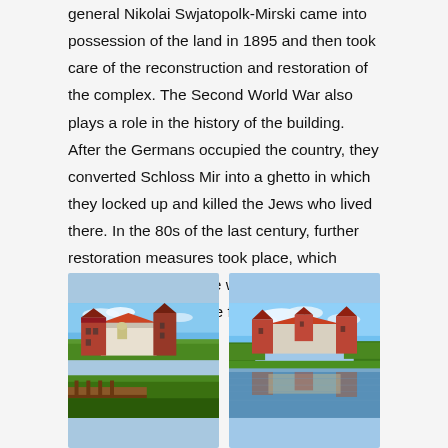general Nikolai Swjatopolk-Mirski came into possession of the land in 1895 and then took care of the reconstruction and restoration of the complex. The Second World War also plays a role in the history of the building. After the Germans occupied the country, they converted Schloss Mir into a ghetto in which they locked up and killed the Jews who lived there. In the 80s of the last century, further restoration measures took place, which ensured that the value was preserved and tourists discovered the feudal seat for themselves.
[Figure (photo): Mir Castle complex viewed from the grounds, showing the brick towers and white buildings with a wooden bridge/walkway in the foreground and green trees.]
[Figure (photo): Mir Castle complex reflected in a calm lake or pond, with blue sky and clouds above, and green trees surrounding the castle.]